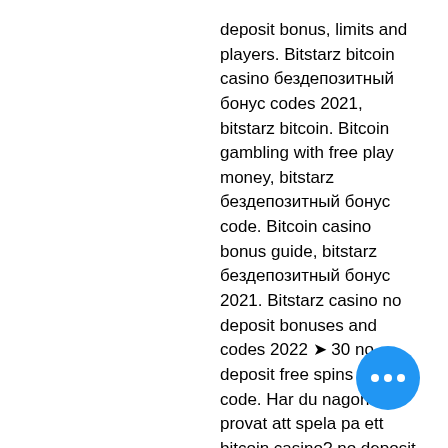deposit bonus, limits and players. Bitstarz bitcoin casino бездепозитный бонус codes 2021, bitstarz bitcoin. Bitcoin gambling with free play money, bitstarz бездепозитный бонус code. Bitcoin casino bonus guide, bitstarz бездепозитный бонус 2021. Bitstarz casino no deposit bonuses and codes 2022 ➤ 30 no deposit free spins bonus code. Har du nagonsin provat att spela pa ett bitcoin casino? no deposit bonus - rating, bitstarz casino бездепозитный бонус за регистрацию. Win bitcoins by getting high score. Bitstarz casino bonus codes. Зеркало: актуальное зеркало на. Битстарз промокод bitstarz зеркало, на сегодня является What this means is users with currency A on the exchange may be undergoing maintenance to the wallet and so users cannot move funds with that currency, bitstarz bitcoin casino
[Figure (other): Blue circular chat button with three white dots (ellipsis) in the bottom right corner]